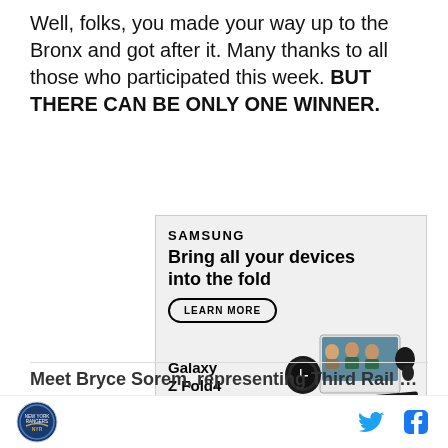Well, folks, you made your way up to the Bronx and got after it. Many thanks to all those who participated this week. BUT THERE CAN BE ONLY ONE WINNER.
[Figure (illustration): Samsung advertisement for Galaxy Z Fold4. Shows Samsung logo, tagline 'Bring all your devices into the fold', a 'LEARN MORE' button, product images including a smartwatch, folded phone with video call on screen, earbuds, and a stylus pen. Galaxy Z Fold4 text label. Disclaimer text at bottom.]
Meet Bryce Sorem, representing Third Rail New...
Twitter and Facebook social icons, site logo